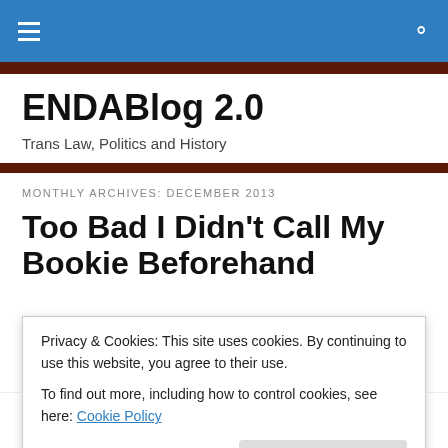ENDABlog 2.0 — navigation bar with hamburger menu and search icon
ENDABlog 2.0
Trans Law, Politics and History
MONTHLY ARCHIVES: DECEMBER 2013
Too Bad I Didn't Call My Bookie Beforehand
Privacy & Cookies: This site uses cookies. By continuing to use this website, you agree to their use.
To find out more, including how to control cookies, see here: Cookie Policy
would this quickly – become a corporate fluffer for A&E